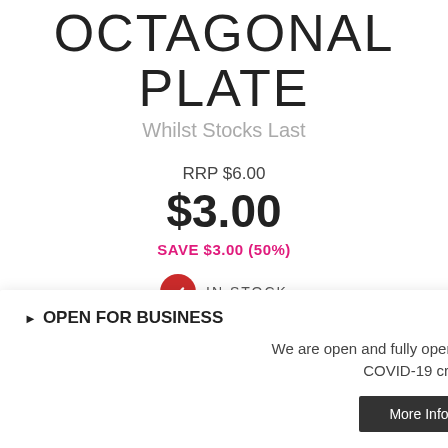OCTAGONAL PLATE
Whilst Stocks Last
RRP $6.00
$3.00
SAVE $3.00 (50%)
IN STOCK
Or 4 interest-free payments of $0.75 with afterpay
OPEN FOR BUSINESS
We are open and fully operational during the COVID-19 crisis.
More Info